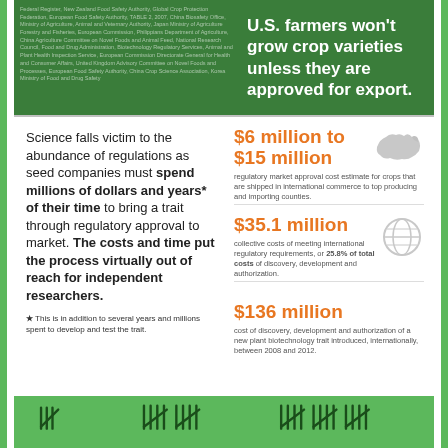U.S. farmers won't grow crop varieties unless they are approved for export.
Science falls victim to the abundance of regulations as seed companies must spend millions of dollars and years* of their time to bring a trait through regulatory approval to market. The costs and time put the process virtually out of reach for independent researchers.
$6 million to $15 million — regulatory market approval cost estimate for crops that are shipped in international commerce to top producing and importing counties.
$35.1 million — collective costs of meeting international regulatory requirements, or 25.8% of total costs of discovery, development and authorization.
$136 million — cost of discovery, development and authorization of a new plant biotechnology trait introduced, internationally, between 2008 and 2012.
★ This is in addition to several years and millions spent to develop and test the trait.